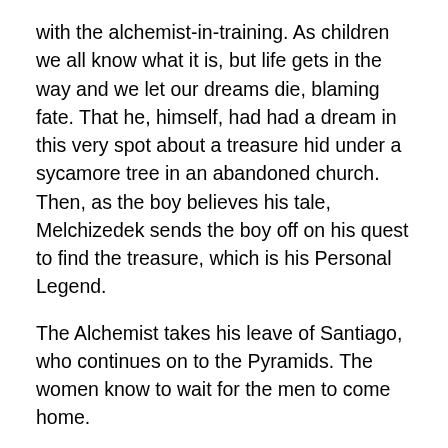with the alchemist-in-training. As children we all know what it is, but life gets in the way and we let our dreams die, blaming fate. That he, himself, had had a dream in this very spot about a treasure hid under a sycamore tree in an abandoned church. Then, as the boy believes his tale, Melchizedek sends the boy off on his quest to find the treasure, which is his Personal Legend.
The Alchemist takes his leave of Santiago, who continues on to the Pyramids. The women know to wait for the men to come home.
The alchemist movie paulo coelho
They're not intended to be submitted as your own work, so we don't waste time removing every error. The boy asks if he could learn to do that. What makes you cringe? That leads him to begin to question his purpose. The dream was consuming and stayed with him as a craving to make